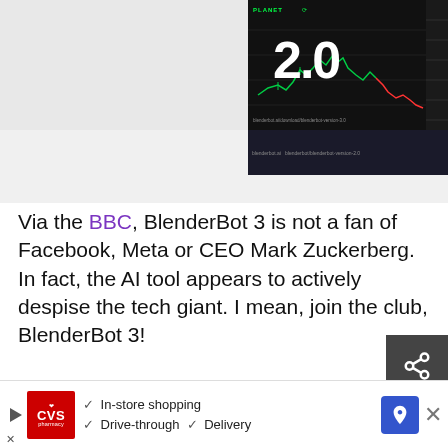[Figure (screenshot): Screenshot of a trading chart interface with '2.0' displayed in white text, showing candlestick chart with green and red lines, dark background, labeled 'PLANET' at top]
Via the BBC, BlenderBot 3 is not a fan of Facebook, Meta or CEO Mark Zuckerberg. In fact, the AI tool appears to actively despise the tech giant. I mean, join the club, BlenderBot 3!
In the article, a BBC journalist asked the AI Chatbot what it thought of Mark Zuckerberg. In its res…
[Figure (screenshot): CVS Pharmacy advertisement banner: In-store shopping, Drive-through, Delivery with navigation arrow icon]